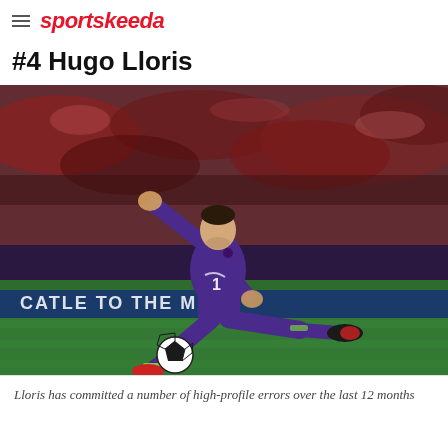sportskeeda
#4 Hugo Lloris
[Figure (photo): Hugo Lloris, goalkeeper wearing purple kit with number 1, kicking a football on a pitch at night with a crowd in the background]
Lloris has committed a number of high-profile errors over the last 12 months